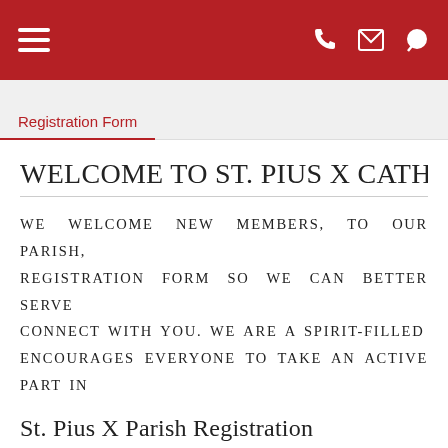≡  ✆  ✉  💬
Registration Form
WELCOME TO ST. PIUS X CATHOLIC C…
WE WELCOME NEW MEMBERS, TO OUR PARISH, REGISTRATION FORM SO WE CAN BETTER SERVE CONNECT WITH YOU. WE ARE A SPIRIT-FILLED ENCOURAGES EVERYONE TO TAKE AN ACTIVE PART IN
St. Pius X Parish Registration
Family Information